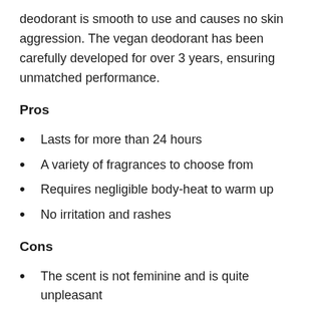deodorant is smooth to use and causes no skin aggression. The vegan deodorant has been carefully developed for over 3 years, ensuring unmatched performance.
Pros
Lasts for more than 24 hours
A variety of fragrances to choose from
Requires negligible body-heat to warm up
No irritation and rashes
Cons
The scent is not feminine and is quite unpleasant